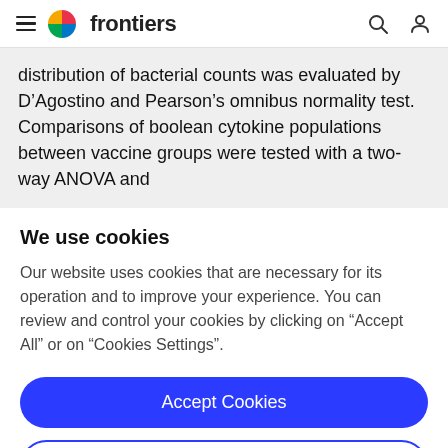frontiers
distribution of bacterial counts was evaluated by D’Agostino and Pearson’s omnibus normality test. Comparisons of boolean cytokine populations between vaccine groups were tested with a two-way ANOVA and
We use cookies
Our website uses cookies that are necessary for its operation and to improve your experience. You can review and control your cookies by clicking on “Accept All” or on “Cookies Settings”.
Accept Cookies
Cookies Settings